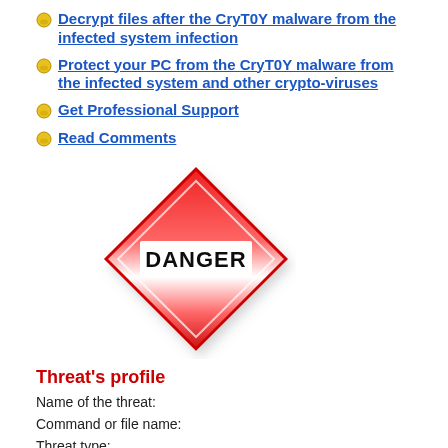Decrypt files after the CryT0Y malware from the infected system infection
Protect your PC from the CryT0Y malware from the infected system and other crypto-viruses
Get Professional Support
Read Comments
[Figure (illustration): Red diamond-shaped DANGER warning sign with gradient red and white fill and bold black text reading DANGER]
Threat's profile
Name of the threat:
Command or file name:
Threat type: